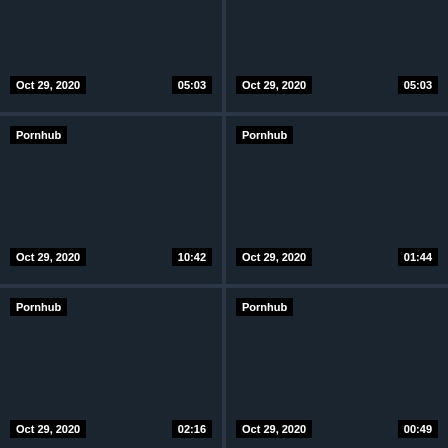[Figure (screenshot): Video thumbnail card top-left: date Oct 29, 2020, duration 05:03]
[Figure (screenshot): Video thumbnail card top-right: date Oct 29, 2020, duration 05:03]
[Figure (screenshot): Video thumbnail card middle-left: source Pornhub, date Oct 29, 2020, duration 10:42]
[Figure (screenshot): Video thumbnail card middle-right: source Pornhub, date Oct 29, 2020, duration 01:44]
[Figure (screenshot): Video thumbnail card lower-left: source Pornhub, date Oct 29, 2020, duration 02:16]
[Figure (screenshot): Video thumbnail card lower-right: source Pornhub, date Oct 29, 2020, duration 00:49]
[Figure (screenshot): Video thumbnail card bottom-left: source Pornhub, partially visible]
[Figure (screenshot): Video thumbnail card bottom-right: source Pornhub, partially visible]